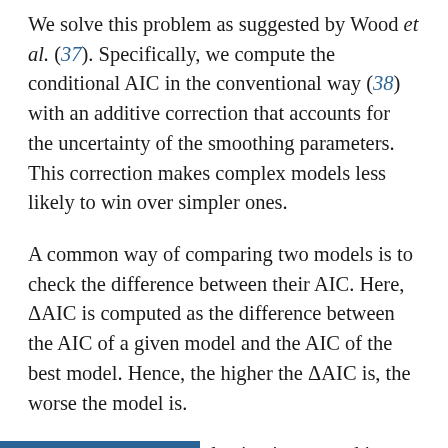We solve this problem as suggested by Wood et al. (37). Specifically, we compute the conditional AIC in the conventional way (38) with an additive correction that accounts for the uncertainty of the smoothing parameters. This correction makes complex models less likely to win over simpler ones.
A common way of comparing two models is to check the difference between their AIC. Here, ΔAIC is computed as the difference between the AIC of a given model and the AIC of the best model. Hence, the higher the ΔAIC is, the worse the model is.
The result of model selection is reported in table S1. The winning model had surprise, predictability, learning progress, and time as covariates and subjects as random factor. Time was expressed in two ways. First, in terms of trial number within a certain